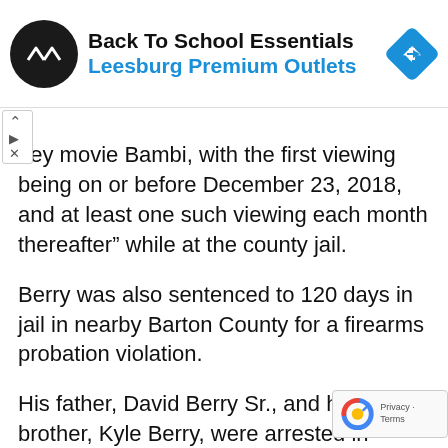[Figure (advertisement): Ad banner for Leesburg Premium Outlets Back To School Essentials with circular dark logo and blue diamond arrow icon]
ney movie Bambi, with the first viewing being on or before December 23, 2018, and at least one such viewing each month thereafter” while at the county jail.
Berry was also sentenced to 120 days in jail in nearby Barton County for a firearms probation violation.
His father, David Berry Sr., and his brother, Kyle Berry, were arrested in August after a nearly nine-month investigation that also involved cases in Kansas, Nebraska and Canada. The Missouri Department of Conservation said information from the investigation led to 14